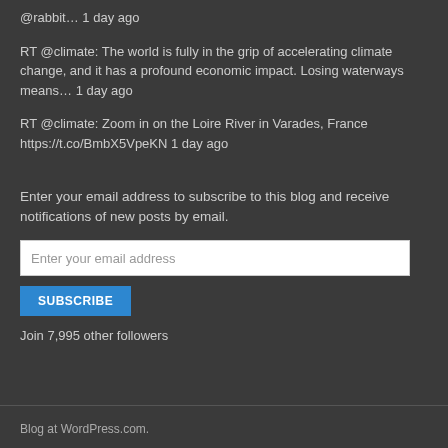@rabbit… 1 day ago
RT @climate: The world is fully in the grip of accelerating climate change, and it has a profound economic impact. Losing waterways means… 1 day ago
RT @climate: Zoom in on the Loire River in Varades, France https://t.co/BmbX5VpeKN 1 day ago
Enter your email address to subscribe to this blog and receive notifications of new posts by email.
Enter your email address
SUBSCRIBE
Join 7,995 other followers
Blog at WordPress.com.